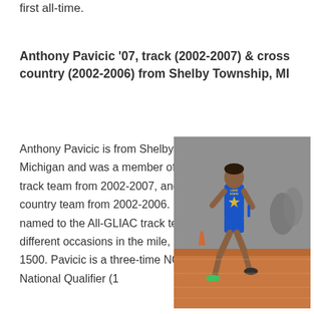first all-time.
Anthony Pavicic '07, track (2002-2007) & cross country (2002-2006) from Shelby Township, MI
Anthony Pavicic is from Shelby Township, Michigan and was a member of the LSSU track team from 2002-2007, and the cross country team from 2002-2006. He was named to the All-GLIAC track team on six different occasions in the mile, 3,000, and 1500. Pavicic is a three-time NCAA National Qualifier (1
[Figure (photo): Photo of Anthony Pavicic running in a blue and gold Lake State uniform on an indoor track.]